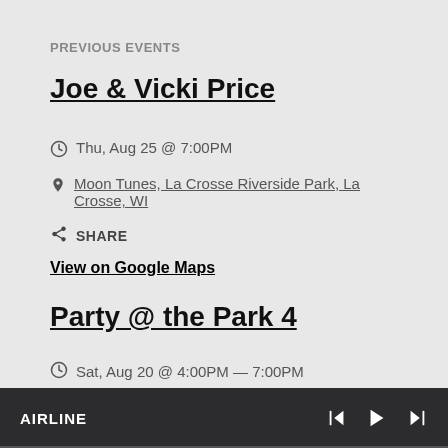PREVIOUS EVENTS
Joe & Vicki Price
Thu, Aug 25 @ 7:00PM
Moon Tunes, La Crosse Riverside Park, La Crosse, WI
SHARE
View on Google Maps
Party @ the Park 4
Sat, Aug 20 @ 4:00PM — 7:00PM
AIRLINE